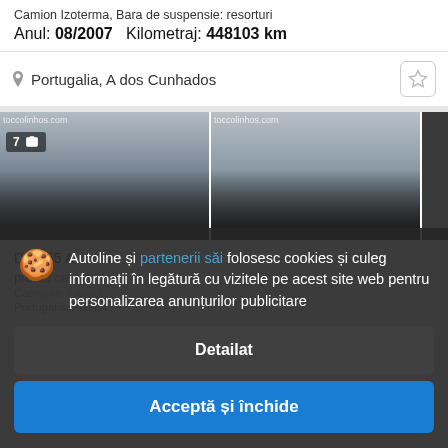Camion Izoterma, Bara de suspensie: resorturi
Anul: 08/2007   Kilometraj: 448103 km
Portugalia, A dos Cunhados
[Figure (photo): Two truck images side by side showing refrigerated truck bodies]
DAF 65 A...
pre La cerere
Categorie: folosire
Portugalia, Falima
Autoline și partenerii săi folosesc cookies și culeg informații în legătură cu vizitele pe acest site web pentru personalizarea anunțurilor publicitare
Detailat
Acceptă și închide